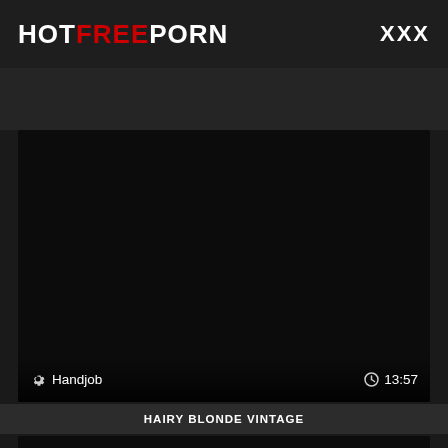HOTFREEPORN  XXX
[Figure (screenshot): Dark video thumbnail showing a nearly black preview image with category label 'Handjob' and duration '13:57' overlaid at the bottom]
HAIRY BLONDE VINTAGE
[Figure (screenshot): Second video thumbnail, dark/black preview image, partially visible at bottom of page]